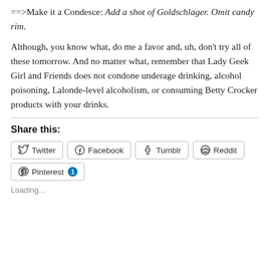==>Make it a Condesce: Add a shot of Goldschlager. Omit candy rim.
Although, you know what, do me a favor and, uh, don't try all of these tomorrow. And no matter what, remember that Lady Geek Girl and Friends does not condone underage drinking, alcohol poisoning, Lalonde-level alcoholism, or consuming Betty Crocker products with your drinks.
Share this:
Twitter  Facebook  Tumblr  Reddit  Pinterest 1
Loading...